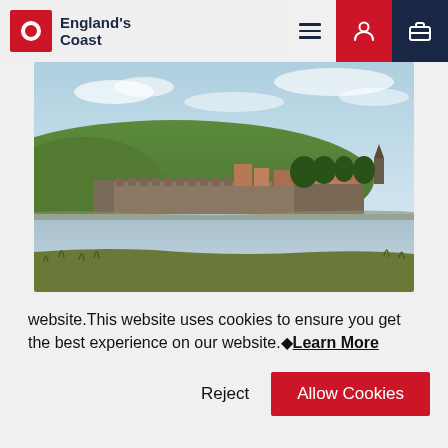England's Coast
[Figure (photo): Coastal landscape photo showing a walled town or fortress by a river/estuary, with green hills in the background and grassy foreground, blue sky with wispy clouds]
website.This website uses cookies to ensure you get the best experience on our website.◆Learn More
Reject | Allow Cookies